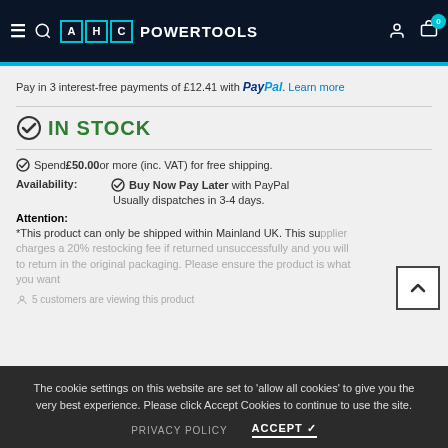AHC POWERTOOLS
Pay in 3 interest-free payments of £12.41 with PayPal. Learn more
IN STOCK
Spend £50.00 or more (inc. VAT) for free shipping.
Availability: Buy Now Pay Later with PayPal Usually dispatches in 3-4 days.
Attention:
*This product can only be shipped within Mainland UK. This supplier charges a 20% restocking fee if returned unsuccessfully and you will to return in the original packaging. Please ensure the product is what you want
5 customers are viewing this product
The cookie settings on this website are set to 'allow all cookies' to give you the very best experience. Please click Accept Cookies to continue to use the site.
PRIVACY POLICY  ACCEPT